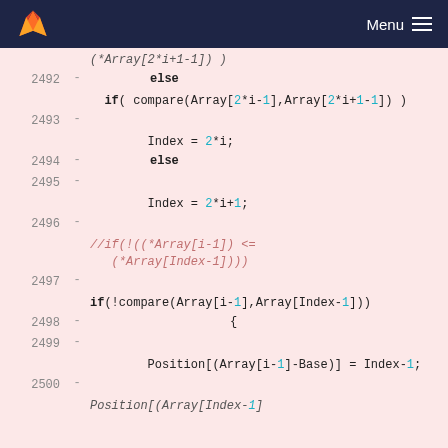Menu
Code diff view showing lines 2492-2500 of a C-style source file with array comparison logic